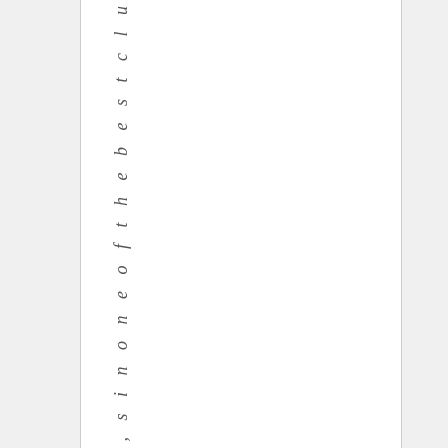o s p e a k o f , h e , s i n o n e o f t h e b e s t c l u